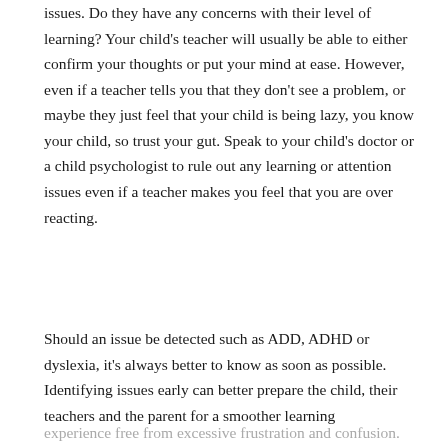issues. Do they have any concerns with their level of learning? Your child's teacher will usually be able to either confirm your thoughts or put your mind at ease. However, even if a teacher tells you that they don't see a problem, or maybe they just feel that your child is being lazy, you know your child, so trust your gut. Speak to your child's doctor or a child psychologist to rule out any learning or attention issues even if a teacher makes you feel that you are over reacting.
Should an issue be detected such as ADD, ADHD or dyslexia, it's always better to know as soon as possible. Identifying issues early can better prepare the child, their teachers and the parent for a smoother learning
experience free from excessive frustration and confusion.